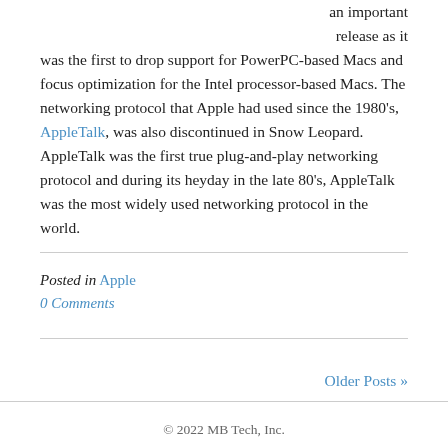an important release as it was the first to drop support for PowerPC-based Macs and focus optimization for the Intel processor-based Macs. The networking protocol that Apple had used since the 1980's, AppleTalk, was also discontinued in Snow Leopard. AppleTalk was the first true plug-and-play networking protocol and during its heyday in the late 80's, AppleTalk was the most widely used networking protocol in the world.
Posted in Apple
0 Comments
Older Posts »
© 2022 MB Tech, Inc.